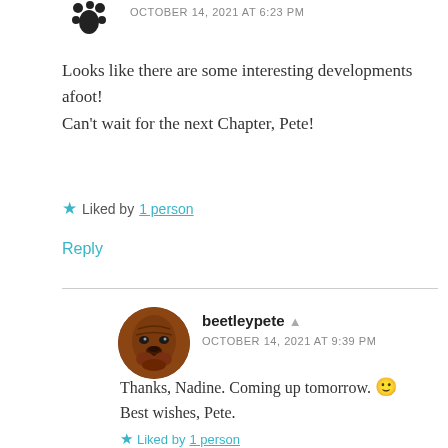OCTOBER 14, 2021 AT 6:23 PM
Looks like there are some interesting developments afoot!
Can't wait for the next Chapter, Pete!
★ Liked by 1 person
Reply
beetleypete
OCTOBER 14, 2021 AT 9:39 PM
Thanks, Nadine. Coming up tomorrow. 🙂
Best wishes, Pete.
★ Liked by 1 person